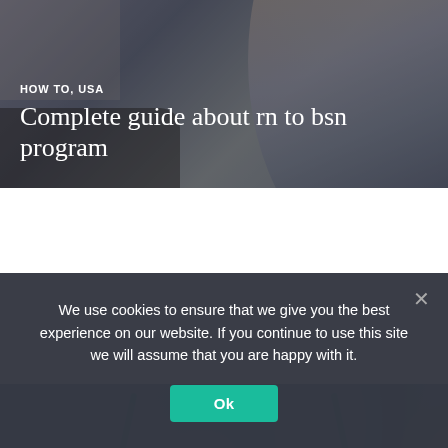[Figure (photo): Nurse or healthcare worker at a desk, wearing white coat with red stethoscope, background photo used as article card image]
HOW TO, USA
Complete guide about rn to bsn program
[Figure (photo): Healthcare worker in blue scrubs holding a UK flag coin purse, used as article card image]
LISTS, UK
Top 12 nursing schools in the uk |
We use cookies to ensure that we give you the best experience on our website. If you continue to use this site we will assume that you are happy with it.